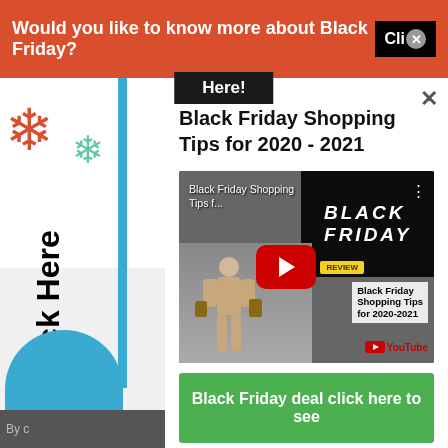Would you like to know more about Black Friday? Click Here!
Black Friday Shopping Tips for 2020 - 2021
[Figure (screenshot): YouTube video thumbnail for 'Black Friday Shopping Tips f...' showing a mannequin with shopping bags and a red play button. Text overlay shows BLACK FRIDAY and 'Black Friday Shopping Tips for 2020-2021'.]
Black Friday deal click here to see